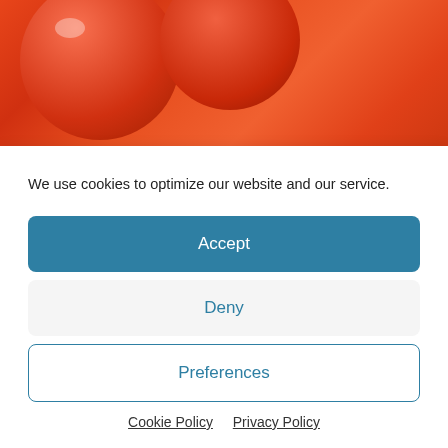[Figure (photo): Close-up photo of red tomatoes with water droplets, cropped at top]
Five A day Fruit And Veg
February 25, 2012
Sunshine And The Elderly
We use cookies to optimize our website and our service.
Accept
Deny
Preferences
Cookie Policy  Privacy Policy